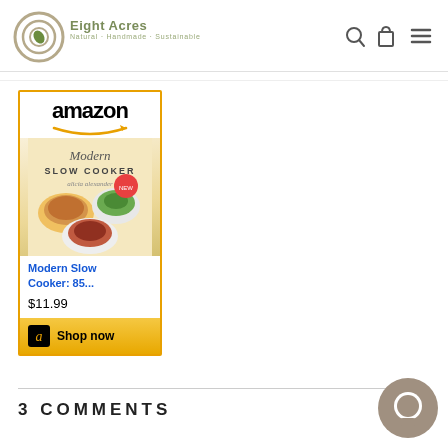Eight Acres — Natural · Handmade · Sustainable
[Figure (screenshot): Amazon advertisement card for 'Modern Slow Cooker: 85...' priced at $11.99 with a Shop now button]
3 COMMENTS